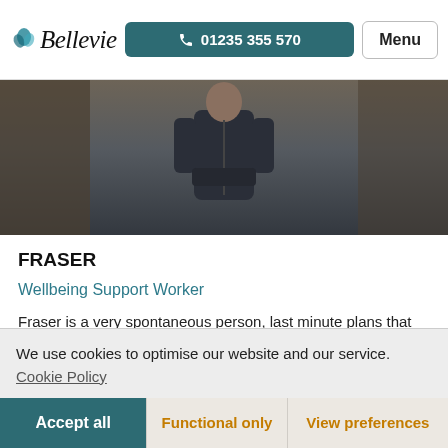Bellevie | 01235 355 570 | Menu
[Figure (photo): Person in dark clothing standing in an interior setting, viewed from mid-body upward.]
FRASER
Wellbeing Support Worker
Fraser is a very spontaneous person, last minute plans that he didn't see coming, excite him alot! He is a travel
We use cookies to optimise our website and our service.  Cookie Policy
Accept all | Functional only | View preferences